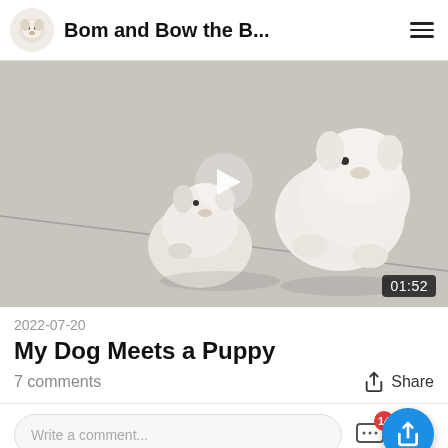Bom and Bow the B...
[Figure (screenshot): Video thumbnail showing two small white fluffy puppies (Bichon Frise type) on a light gray floor. A play button triangle is overlaid in the center. Duration badge shows 01:52 in bottom right.]
2022-07-20
My Dog Meets a Puppy
7 comments
Share
Write a comment...